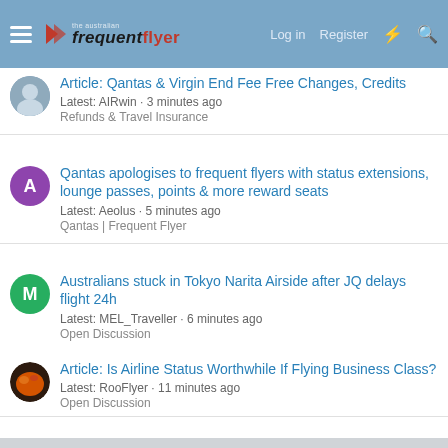Australian Frequent Flyer — Log in | Register
Article: Qantas & Virgin End Fee Free Changes, Credits
Latest: AIRwin · 3 minutes ago
Refunds & Travel Insurance
Qantas apologises to frequent flyers with status extensions, lounge passes, points & more reward seats
Latest: Aeolus · 5 minutes ago
Qantas | Frequent Flyer
Australians stuck in Tokyo Narita Airside after JQ delays flight 24h
Latest: MEL_Traveller · 6 minutes ago
Open Discussion
Article: Is Airline Status Worthwhile If Flying Business Class?
Latest: RooFlyer · 11 minutes ago
Open Discussion
Currently Active Users
vino355, wenglock.mok, JackMiles, implsv, BriarFlyer, paddywide,